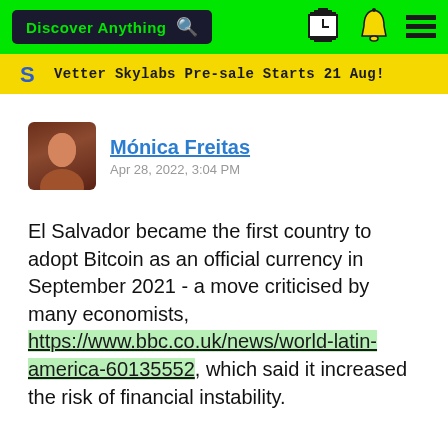Discover Anything [search icon] [clock icon] [bell icon] [menu icon]
Vetter Skylabs Pre-sale Starts 21 Aug!
Mónica Freitas  Apr 28, 2022, 3:04 PM
El Salvador became the first country to adopt Bitcoin as an official currency in September 2021 - a move criticised by many economists, https://www.bbc.co.uk/news/world-latin-america-60135552, which said it increased the risk of financial instability.